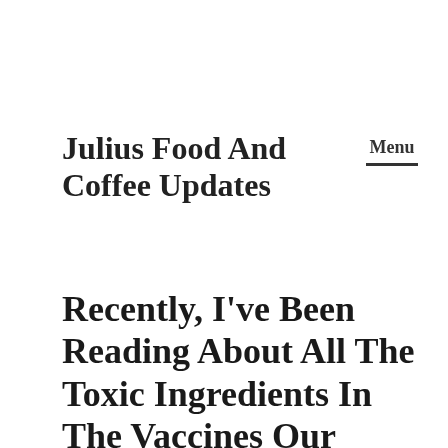Julius Food And Coffee Updates
Menu
Recently, I've Been Reading About All The Toxic Ingredients In The Vaccines Our Children Are Required To Receive